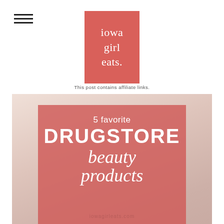[Figure (logo): Iowa Girl Eats blog logo — pink/salmon square with white text reading 'iowa girl eats.']
This post contains affiliate links.
[Figure (infographic): Promotional blog post image with salmon/pink overlay on a soft photo background. Text reads: '5 favorite DRUGSTORE beauty products' with iowagirleats.com at the bottom.]